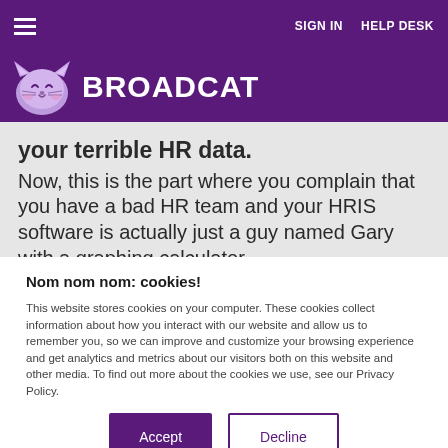SIGN IN   HELP DESK
[Figure (logo): Broadcat logo with cartoon cat icon and text BROADCAT in white on purple background]
your terrible HR data.
Now, this is the part where you complain that you have a bad HR team and your HRIS software is actually just a guy named Gary with a graphing calculator.
Nom nom nom: cookies!
This website stores cookies on your computer. These cookies collect information about how you interact with our website and allow us to remember you, so we can improve and customize your browsing experience and get analytics and metrics about our visitors both on this website and other media. To find out more about the cookies we use, see our Privacy Policy.